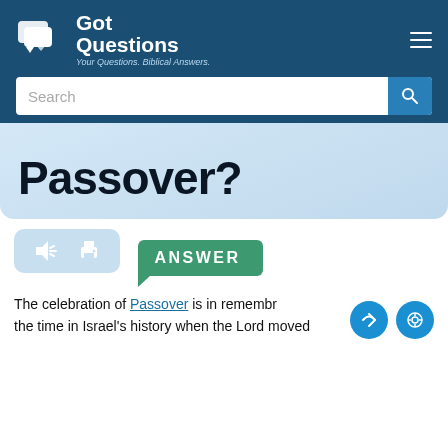[Figure (logo): GotQuestions logo with speech bubble icons and text 'Got Questions - Your Questions. Biblical Answers.']
Search
Passover?
[Figure (screenshot): Audio and print tool buttons on a light blue rounded rectangle]
ANSWER
The celebration of Passover is in remembrance of the time in Israel's history when the Lord moved